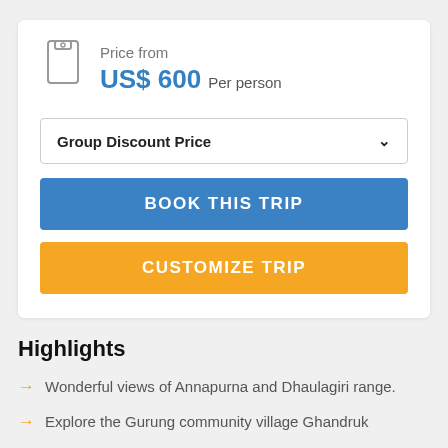Price from
US$ 600 Per person
Group Discount Price
BOOK THIS TRIP
CUSTOMIZE TRIP
Highlights
Wonderful views of Annapurna and Dhaulagiri range.
Explore the Gurung community village Ghandruk